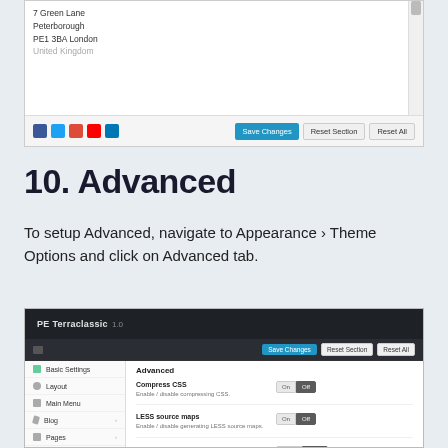[Figure (screenshot): WordPress theme options editor showing address text area with social media icons and Save Changes / Reset Section / Reset All buttons]
10. Advanced
To setup Advanced, navigate to Appearance › Theme Options and click on Advanced tab.
[Figure (screenshot): PE Terraclassic 1.0 theme options panel showing Advanced tab with Compress CSS (On/Off toggle set to Off), LESS source maps (On/Off toggle set to Off), and LESS cache (Clear/Keep) settings]